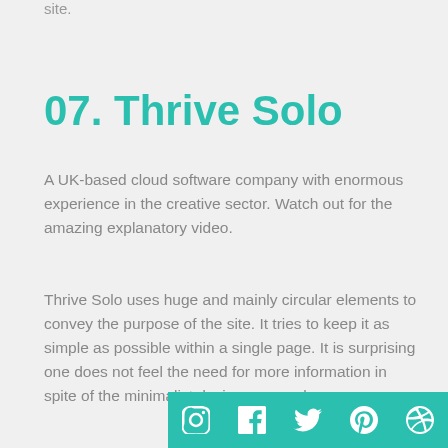site.
07. Thrive Solo
A UK-based cloud software company with enormous experience in the creative sector. Watch out for the amazing explanatory video.
Thrive Solo uses huge and mainly circular elements to convey the purpose of the site. It tries to keep it as simple as possible within a single page. It is surprising one does not feel the need for more information in spite of the minimalist design approach.
[Figure (infographic): Social media icons row: Instagram, Facebook, Twitter, Pinterest, Dribbble — white icons on teal/green square backgrounds]